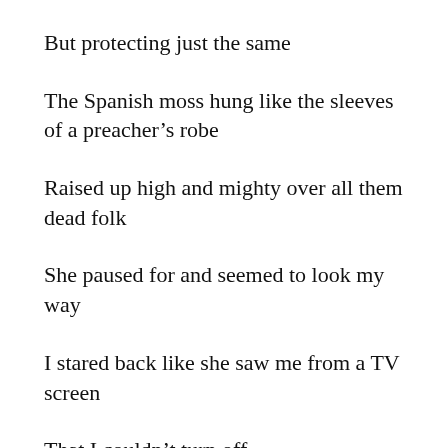But protecting just the same
The Spanish moss hung like the sleeves of a preacher’s robe
Raised up high and mighty over all them dead folk
She paused for and seemed to look my way
I stared back like she saw me from a TV screen
That I couldn’t turn off
Then she went right on back to doing what she was doing